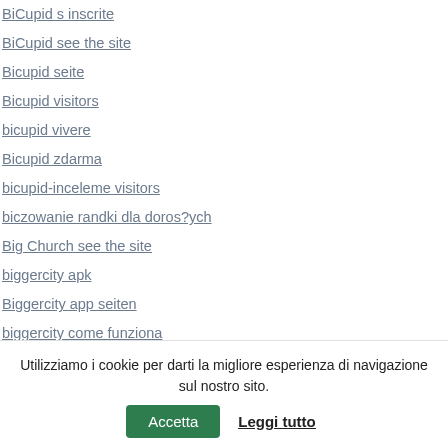BiCupid s inscrite
BiCupid see the site
Bicupid seite
Bicupid visitors
bicupid vivere
Bicupid zdarma
bicupid-inceleme visitors
biczowanie randki dla doros?ych
Big Church see the site
biggercity apk
Biggercity app seiten
biggercity come funziona
biggercity dating
biggercity effacer
biggercity gratis superkrachten
biggercity inscription
Utilizziamo i cookie per darti la migliore esperienza di navigazione sul nostro sito. Accetta Leggi tutto